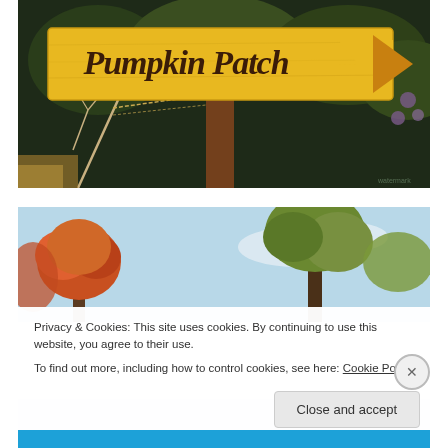[Figure (photo): A yellow wooden sign reading 'Pumpkin Patch' with a left-pointing arrow, mounted on a wooden post surrounded by bare branches and trees in the background.]
[Figure (photo): Autumn trees with orange and green foliage against a light blue sky, partially obscured by a cookie consent banner overlay.]
Privacy & Cookies: This site uses cookies. By continuing to use this website, you agree to their use.
To find out more, including how to control cookies, see here: Cookie Policy
Close and accept